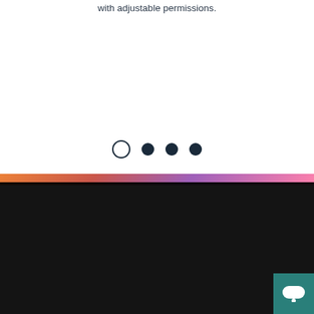with adjustable permissions.
[Figure (other): Carousel navigation dots: one empty circle (current/active indicator) followed by three filled dark circles]
[Figure (screenshot): Cookie consent overlay banner on a dark background. Contains text 'This website uses cookies to ensure you get the best experience on our website.' with two buttons: 'Decline' and 'Allow cookies'. A teal chat bubble icon appears in the bottom right corner.]
This website uses cookies to ensure you get the best experience on our website.
Decline
Allow cookies